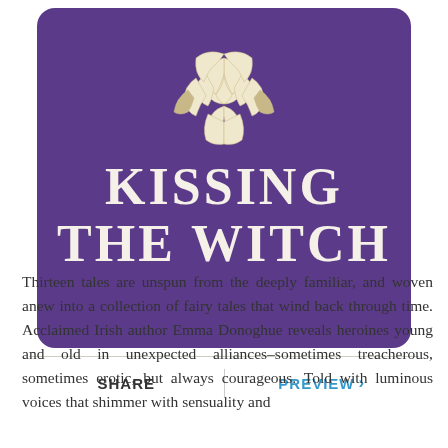[Figure (illustration): Book cover for 'Kissing the Witch' by Emma Donoghue. Purple/violet square cover with rounded corners showing a cream-colored rose illustration at the top and large serif white text reading 'KISSING THE WITCH' below it. Set against a cream/off-white background.]
SHARE
PREVIEW ›
Thirteen tales are unspun from the deeply familiar, and woven anew into a collection of fairy tales that wind back through time. Acclaimed Irish author Emma Donoghue reveals heroines young and old in unexpected alliances–sometimes treacherous, sometimes erotic, but always courageous. Told with luminous voices that shimmer with sensuality and